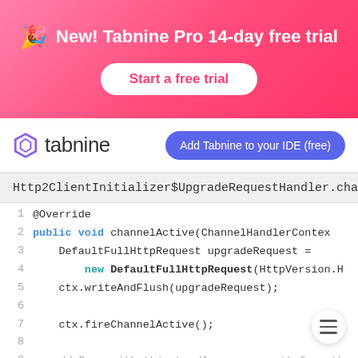[Figure (infographic): Pink/red gradient promotional banner with party emoji, text 'New! Tabnine Pro 14-day free trial' and a white pill button 'Start a free trial']
[Figure (logo): Tabnine logo (hexagon icon + wordmark) on left, blue pill button 'Add Tabnine to your IDE (free)' on right]
Http2ClientInitializer$UpgradeRequestHandler.chan...
[Figure (screenshot): Code editor screenshot showing Java method channelActive with line numbers 1-11. Lines include @Override, public void channelActive, DefaultFullHttpRequest upgradeRequest = new DefaultFullHttpRequest, ctx.writeAndFlush, ctx.fireChannelActive, a comment about removing from pipeline, ctx.pipeline().remove(this)]